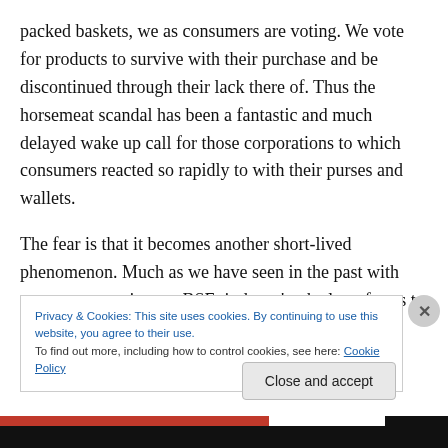packed baskets, we as consumers are voting. We vote for products to survive with their purchase and be discontinued through their lack there of. Thus the horsemeat scandal has been a fantastic and much delayed wake up call for those corporations to which consumers reacted so rapidly to with their purses and wallets.
The fear is that it becomes another short-lived phenomenon. Much as we have seen in the past with consumer reactions to BSE, it doesn't take long for us to
Privacy & Cookies: This site uses cookies. By continuing to use this website, you agree to their use.
To find out more, including how to control cookies, see here: Cookie Policy
Close and accept